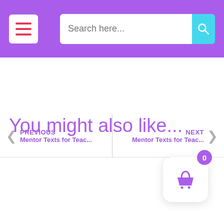Menu | Search here...
PREVIOUS Mentor Texts for Teac... | NEXT Mentor Texts for Teac...
You might also like...
[Figure (illustration): Shopping cart widget with badge showing 0 items, purple basket icon on white rounded square background]